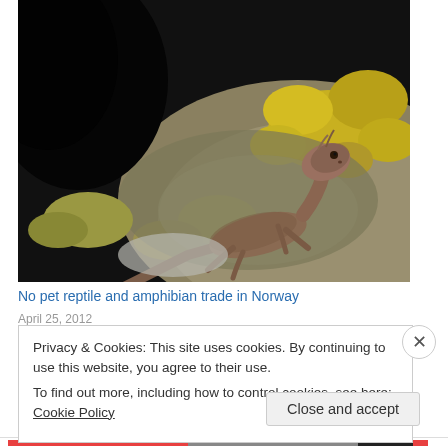[Figure (photo): A small brown lizard/gecko perched on a rock covered with yellow-green lichen, photographed in close-up with a dark background.]
No pet reptile and amphibian trade in Norway
April 25, 2012
Privacy & Cookies: This site uses cookies. By continuing to use this website, you agree to their use.
To find out more, including how to control cookies, see here: Cookie Policy
Close and accept